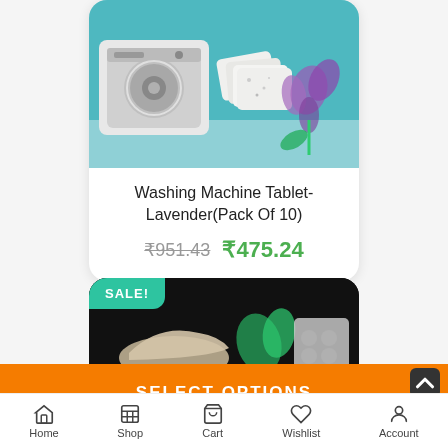[Figure (photo): Product photo of a washing machine with lavender scent laundry tablets on a teal background with purple flowers]
Washing Machine Tablet-Lavender(Pack Of 10)
₹951.43  ₹475.24
[Figure (photo): Dark background product image with shoes and green plant and tablet blister pack, with SALE! badge]
SELECT OPTIONS
Home  Shop  Cart  Wishlist  Account